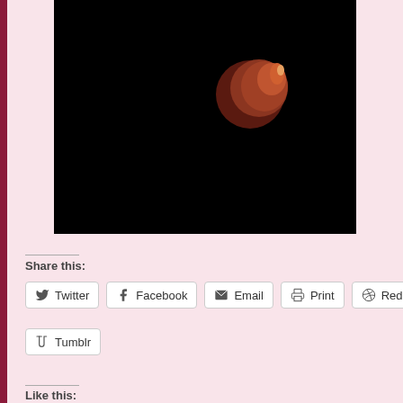[Figure (photo): A blood moon / lunar eclipse photographed against a black night sky. The moon appears reddish-orange and is positioned in the upper-right portion of the black rectangular photo.]
Share this:
Twitter  Facebook  Email  Print  Reddit
Tumblr
Like this: